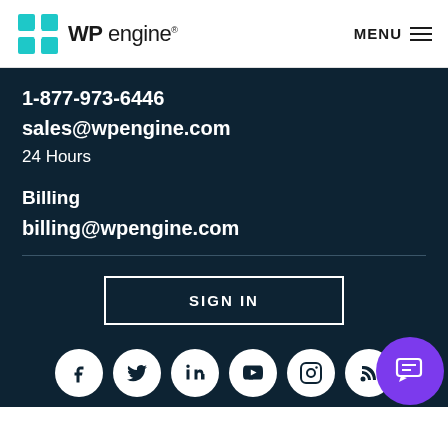WP engine — MENU
1-877-973-6446
sales@wpengine.com
24 Hours
Billing
billing@wpengine.com
SIGN IN
[Figure (infographic): Social media icons row: Facebook, Twitter, LinkedIn, YouTube, Instagram, RSS, and a purple chat bubble icon on the right]